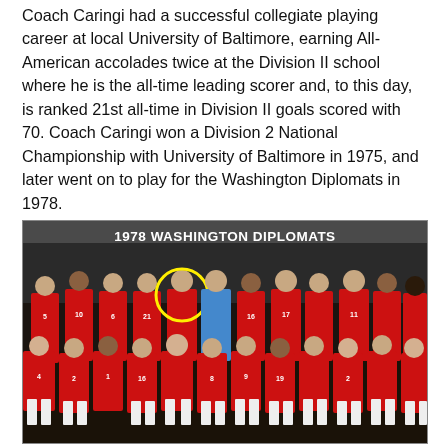Coach Caringi had a successful collegiate playing career at local University of Baltimore, earning All-American accolades twice at the Division II school where he is the all-time leading scorer and, to this day, is ranked 21st all-time in Division II goals scored with 70. Coach Caringi won a Division 2 National Championship with University of Baltimore in 1975, and later went on to play for the Washington Diplomats in 1978.
[Figure (photo): Team photo of the 1978 Washington Diplomats soccer team. Players are wearing red uniforms. A player is highlighted with a yellow circle in the back row. The team name '1978 WASHINGTON DIPLOMATS' is printed in white bold text across the image.]